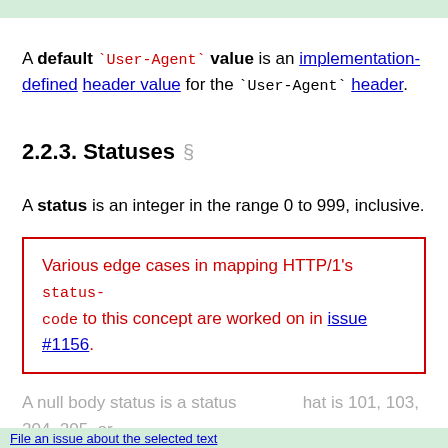A default `User-Agent` value is an implementation-defined header value for the `User-Agent` header.
2.2.3. Statuses §
A status is an integer in the range 0 to 999, inclusive.
Various edge cases in mapping HTTP/1's status-code to this concept are worked on in issue #1156.
A null body status is a status that is 101, 103, 204, 205, or 304.
File an issue about the selected text